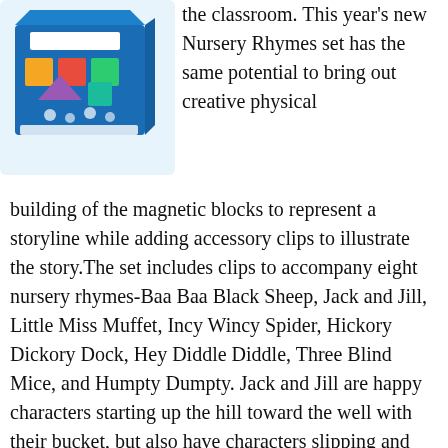[Figure (photo): Product box of magnetic building blocks toy (Nursery Rhymes set), blue box with colorful shapes visible]
the classroom. This year's new Nursery Rhymes set has the same potential to bring out creative physical building of the magnetic blocks to represent a storyline while adding accessory clips to illustrate the story.The set includes clips to accompany eight nursery rhymes-Baa Baa Black Sheep, Jack and Jill, Little Miss Muffet, Incy Wincy Spider, Hickory Dickory Dock, Hey Diddle Diddle, Three Blind Mice, and Humpty Dumpty. Jack and Jill are happy characters starting up the hill toward the well with their bucket, but also have characters slipping and landing at the bottom with some pretty cute farm animals and hay. The incy wincy spider can crawl up 5 magicubes of